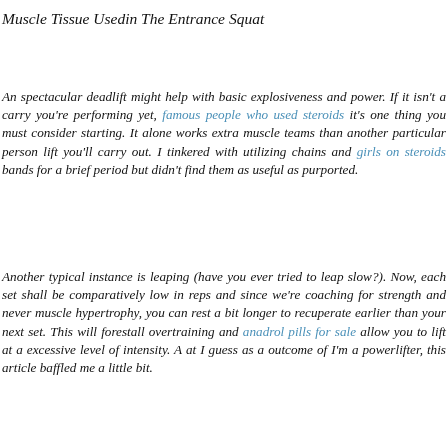Muscle Tissue Usedin The Entrance Squat
An spectacular deadlift might help with basic explosiveness and power. If it isn't a carry you're performing yet, famous people who used steroids it's one thing you must consider starting. It alone works extra muscle teams than another particular person lift you'll carry out. I tinkered with utilizing chains and girls on steroids bands for a brief period but didn't find them as useful as purported.
Another typical instance is leaping (have you ever tried to leap slow?). Now, each set shall be comparatively low in reps and since we're coaching for strength and never muscle hypertrophy, you can rest a bit longer to recuperate earlier than your next set. This will forestall overtraining and anadrol pills for sale allow you to lift at a excessive level of intensity. A at I guess as a outcome of I'm a powerlifter, this article baffled me a little bit.